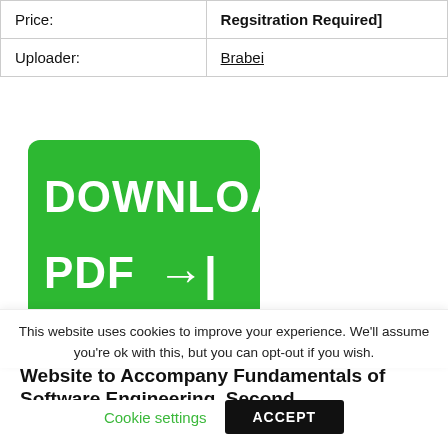| Price: | [Regsitration Required] |
| Uploader: | Brabei |
[Figure (other): Green download button with white text reading 'DOWNLOAD PDF →|']
Website to Accompany Fundamentals of Software Engineering, Second
This website uses cookies to improve your experience. We'll assume you're ok with this, but you can opt-out if you wish.
Cookie settings   ACCEPT